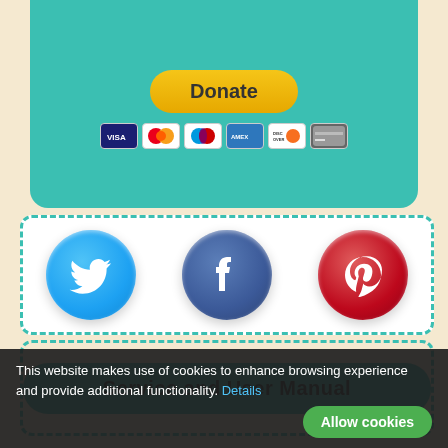[Figure (infographic): Teal donate button with PayPal styling and payment card icons (Visa, Mastercard, Maestro, Amex, Discover, generic card) on a teal rounded rectangle background]
[Figure (infographic): Three social media icons in circular buttons: Twitter (blue bird), Facebook (dark blue F), Pinterest (red P) arranged horizontally inside a dashed teal border box]
Service and User Manual
This website makes use of cookies to enhance browsing experience and provide additional functionality. Details
Allow cookies